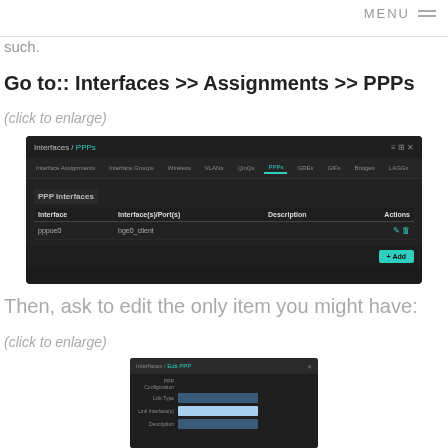MENU
such.
Go to:: Interfaces >> Assignments >> PPPs
(click to enlarge)
[Figure (screenshot): pfSense dark UI showing Interfaces / PPPs page with a table listing PPP interface 'pppoe0' with interface 'bge0_client', and an Add button]
Then, ask to edit the only item you might have:
(click to enlarge)
[Figure (screenshot): pfSense dark UI dialog showing PPP configuration edit form with input fields]